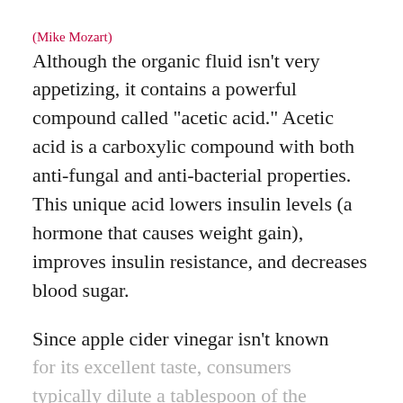(Mike Mozart)
Although the organic fluid isn't very appetizing, it contains a powerful compound called “acetic acid.” Acetic acid is a carboxylic compound with both anti-fungal and anti-bacterial properties. This unique acid lowers insulin levels (a hormone that causes weight gain), improves insulin resistance, and decreases blood sugar.
Since apple cider vinegar isn’t known for its excellent taste, consumers typically dilute a tablespoon of the